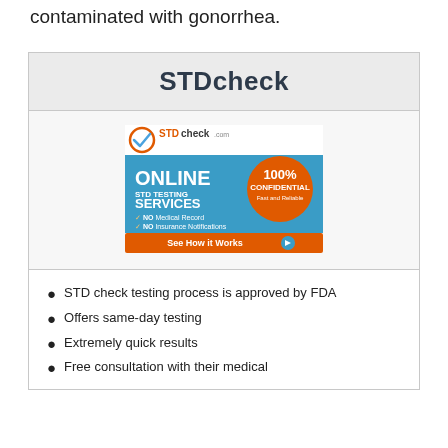contaminated with gonorrhea.
STDcheck
[Figure (advertisement): STDcheck.com advertisement banner showing online STD testing services, 100% confidential, fast and reliable. NO Medical Record, NO Insurance Notifications. See How it Works button.]
STD check testing process is approved by FDA
Offers same-day testing
Extremely quick results
Free consultation with their medical